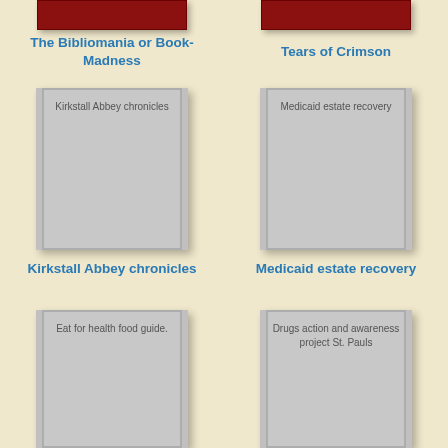[Figure (illustration): Partial top of book cover with red banner for 'The Bibliomania or Book-Madness']
[Figure (illustration): Partial top of book cover with red banner for 'Tears of Crimson']
The Bibliomania or Book-Madness
Tears of Crimson
[Figure (illustration): Full gray book cover for 'Kirkstall Abbey chronicles']
[Figure (illustration): Full gray book cover for 'Medicaid estate recovery']
Kirkstall Abbey chronicles
Medicaid estate recovery
[Figure (illustration): Partial gray book cover for 'Eat for health food guide.']
[Figure (illustration): Partial gray book cover for 'Drugs action and awareness project St. Pauls']